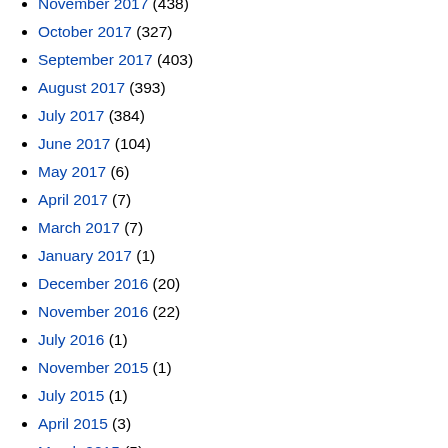November 2017 (438)
October 2017 (327)
September 2017 (403)
August 2017 (393)
July 2017 (384)
June 2017 (104)
May 2017 (6)
April 2017 (7)
March 2017 (7)
January 2017 (1)
December 2016 (20)
November 2016 (22)
July 2016 (1)
November 2015 (1)
July 2015 (1)
April 2015 (3)
March 2015 (5)
February 2015 (1)
January 2015 (8)
December 2014 (5)
October 2014 (9)
September 2014 (3)
August 2014 (10)
July 2014 (5)
June 2014 (13)